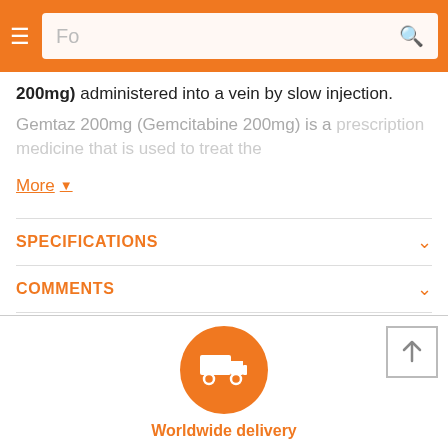Fo [search bar with hamburger menu]
200mg) administered into a vein by slow injection.
Gemtaz 200mg (Gemcitabine 200mg) is a prescription medicine that is used to treat the...
More ▾
SPECIFICATIONS
COMMENTS
[Figure (illustration): Orange circle with white delivery truck icon, above 'Worldwide delivery' text]
Worldwide delivery